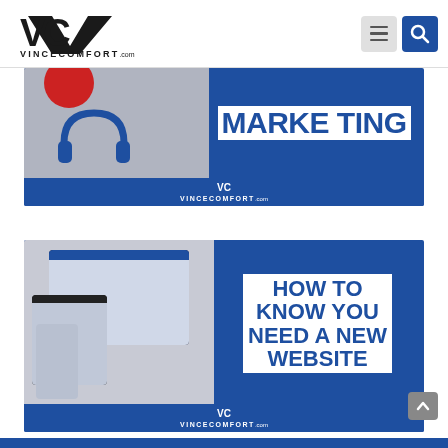[Figure (logo): VinceComfort.com website header with logo, hamburger menu icon, and search icon]
[Figure (screenshot): Banner image showing a partial marketing graphic with text MARKETING on blue background, headphones visible, and VinceComfort.com logo in footer]
[Figure (screenshot): Banner image showing HOW TO KNOW YOU NEED A NEW WEBSITE in blue bold text on blue background with device mockups (desktop, tablet, phone) on left side, VinceComfort.com logo in footer]